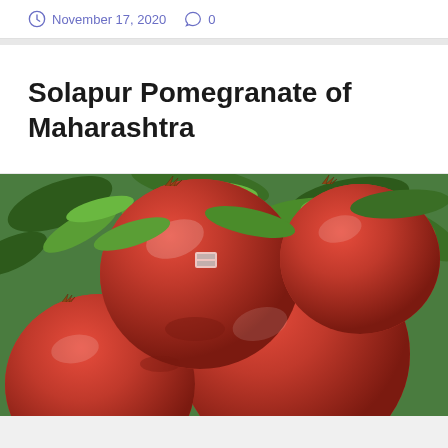November 17, 2020   0
Solapur Pomegranate of Maharashtra
[Figure (photo): Close-up photograph of multiple red pomegranates on a tree with green leaves in the background]